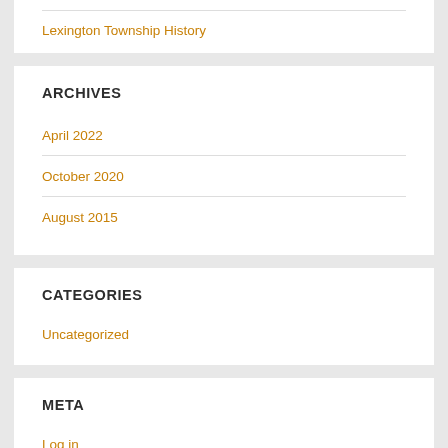Lexington Township History
ARCHIVES
April 2022
October 2020
August 2015
CATEGORIES
Uncategorized
META
Log in